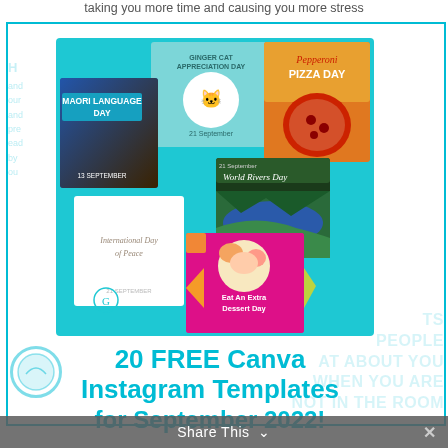taking you more time and causing you more stress
[Figure (screenshot): A collage of six Canva Instagram template previews for September 2022, including Maori Language Day, Ginger Cat Appreciation Day, Pepperoni Pizza Day, International Day of Peace, World Rivers Day, and Eat An Extra Dessert Day templates, on a teal background.]
20 FREE Canva Instagram Templates for September 2022!
Share This